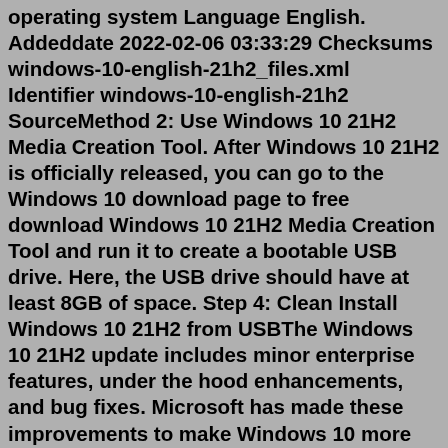operating system Language English. Addeddate 2022-02-06 03:33:29 Checksums windows-10-english-21h2_files.xml Identifier windows-10-english-21h2 SourceMethod 2: Use Windows 10 21H2 Media Creation Tool. After Windows 10 21H2 is officially released, you can go to the Windows 10 download page to free download Windows 10 21H2 Media Creation Tool and run it to create a bootable USB drive. Here, the USB drive should have at least 8GB of space. Step 4: Clean Install Windows 10 21H2 from USBThe Windows 10 21H2 update includes minor enterprise features, under the hood enhancements, and bug fixes. Microsoft has made these improvements to make Windows 10 more stable to use. So, don't expect any notable changes to your system that you'll need to adjust to. The user experience and feature set will be mostly the same, which is excellent.Microsoft has officially released Windows 10 November 2021 Update, also known as Windows 10 21H2, on 16 November 2021.This update has been anticipated by many of us, especially after